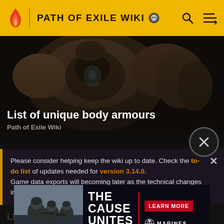PATH OF EXILE WIKI
[Figure (screenshot): Dark fantasy armor/body armour game screenshot used as hero image background]
List of unique body armours
Path of Exile Wiki
Please consider helping keep the wiki up to date. Check the to-do list of updates needed for version 3.14.0. Game data exports will becoming later as the technical changes in addition to regular changes take some more time.
[Figure (photo): Military advertisement: THE CAUSE UNITES US — Marines LEARN MORE banner]
List of unique helmets